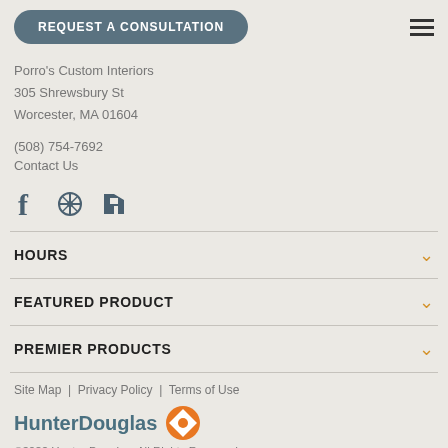REQUEST A CONSULTATION
Porro's Custom Interiors
305 Shrewsbury St
Worcester, MA 01604
(508) 754-7692
Contact Us
[Figure (illustration): Social media icons: Facebook, Yelp, Houzz]
HOURS
FEATURED PRODUCT
PREMIER PRODUCTS
Site Map | Privacy Policy | Terms of Use
[Figure (logo): HunterDouglas logo with orange compass icon]
©2022 Hunter Douglas. All Rights Reserved.